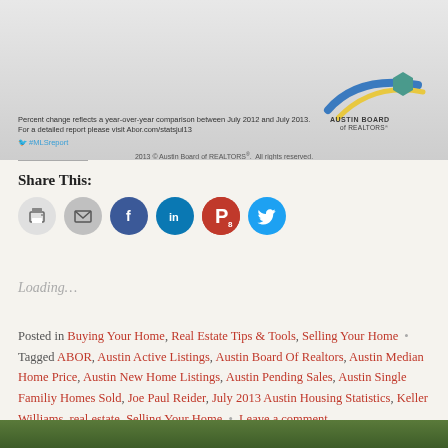[Figure (screenshot): Austin Board of Realtors MLS report infographic footer with footnote text, Twitter hashtag, copyright, and logo]
Percent change reflects a year-over-year comparison between July 2012 and July 2013. For a detailed report please visit Abor.com/statsjul13
#MLSreport
2013 © Austin Board of REALTORS®. All rights reserved.
Share This:
Loading...
Posted in Buying Your Home, Real Estate Tips & Tools, Selling Your Home • Tagged ABOR, Austin Active Listings, Austin Board Of Realtors, Austin Median Home Price, Austin New Home Listings, Austin Pending Sales, Austin Single Familiy Homes Sold, Joe Paul Reider, July 2013 Austin Housing Statistics, Keller Williams, real estate, Selling Your Home • Leave a comment